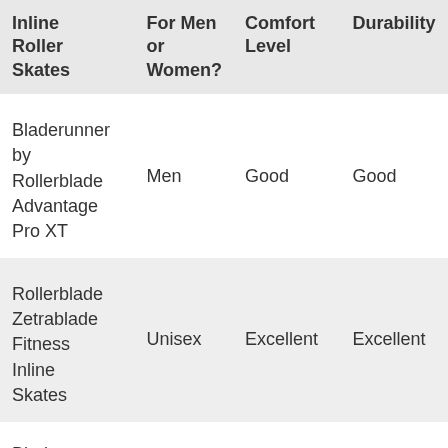| Inline Roller Skates | For Men or Women? | Comfort Level | Durability |
| --- | --- | --- | --- |
| Bladerunner by Rollerblade Advantage Pro XT | Men | Good | Good |
| Rollerblade Zetrablade Fitness Inline Skates | Unisex | Excellent | Excellent |
| Bladerunner by |  |  |  |